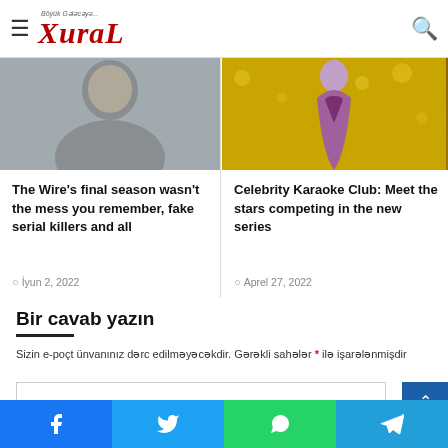Böyük Gələcəyə... XuraL
[Figure (photo): Photo of a man from shoulders up, gray shirt, outdoors blurred background]
The Wire's final season wasn't the mess you remember, fake serial killers and all
İyun 2, 2022
[Figure (photo): Photo of a woman in a purple/magenta gown at a red carpet event with golden bokeh background]
Celebrity Karaoke Club: Meet the stars competing in the new series
Aprel 27, 2022
Bir cavab yazın
Sizin e-poçt ünvanınız dərc edilməyəcəkdir. Gərəkli sahələr * ilə işarələnmişdir